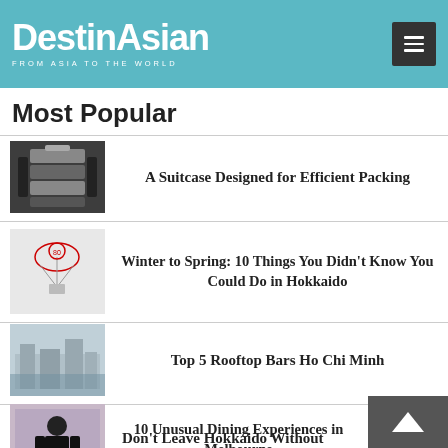DestinAsian — FROM ASIA TO THE WORLD
Most Popular
A Suitcase Designed for Efficient Packing
Winter to Spring: 10 Things You Didn't Know You Could Do in Hokkaido
Top 5 Rooftop Bars Ho Chi Minh
10 Unusual Dining Experiences in Melbourne
Don't Leave Hokkaido Without